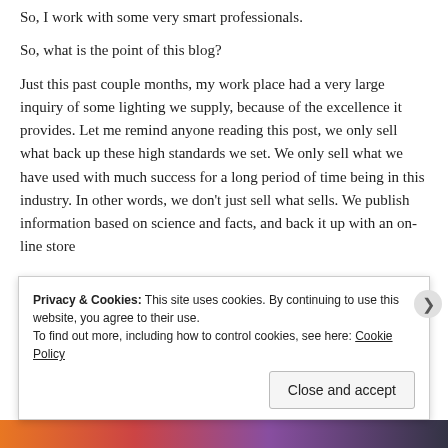So, I work with some very smart professionals.
So, what is the point of this blog?
Just this past couple months, my work place had a very large inquiry of some lighting we supply, because of the excellence it provides. Let me remind anyone reading this post, we only sell what back up these high standards we set. We only sell what we have used with much success for a long period of time being in this industry. In other words, we don’t just sell what sells. We publish information based on science and facts, and back it up with an on-line store
Privacy & Cookies: This site uses cookies. By continuing to use this website, you agree to their use.
To find out more, including how to control cookies, see here: Cookie Policy
Close and accept